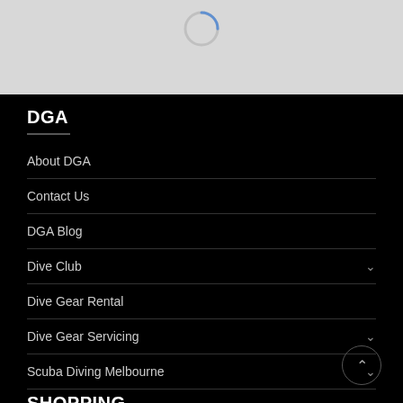[Figure (screenshot): Loading spinner on gray background at top of page]
DGA
About DGA
Contact Us
DGA Blog
Dive Club
Dive Gear Rental
Dive Gear Servicing
Scuba Diving Melbourne
SHOPPING